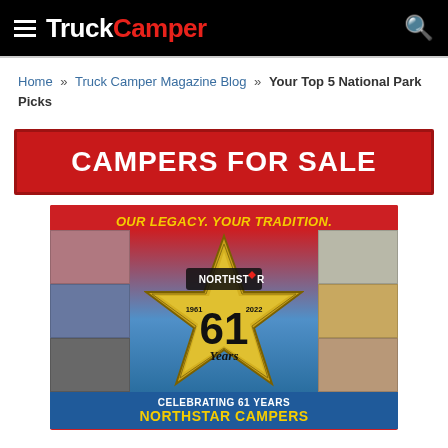TruckCamper
Home » Truck Camper Magazine Blog » Your Top 5 National Park Picks
[Figure (infographic): Red banner advertisement reading CAMPERS FOR SALE in white bold text on red background]
[Figure (infographic): NorthStar Campers advertisement: OUR LEGACY. YOUR TRADITION. with large gold star showing 61 Years (1961-2022), photo collage background, CELEBRATING 61 YEARS NORTHSTAR CAMPERS text at bottom on blue background]